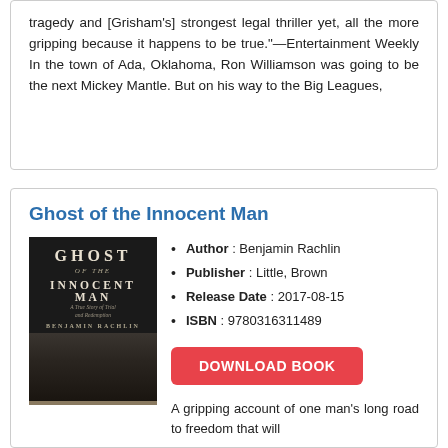tragedy and [Grisham's] strongest legal thriller yet, all the more gripping because it happens to be true."—Entertainment Weekly In the town of Ada, Oklahoma, Ron Williamson was going to be the next Mickey Mantle. But on his way to the Big Leagues,
Ghost of the Innocent Man
[Figure (photo): Book cover of 'Ghost of the Innocent Man' by Benjamin Rachlin, dark monochrome image with text and a house scene]
Author : Benjamin Rachlin
Publisher : Little, Brown
Release Date : 2017-08-15
ISBN : 9780316311489
DOWNLOAD BOOK
A gripping account of one man's long road to freedom that will